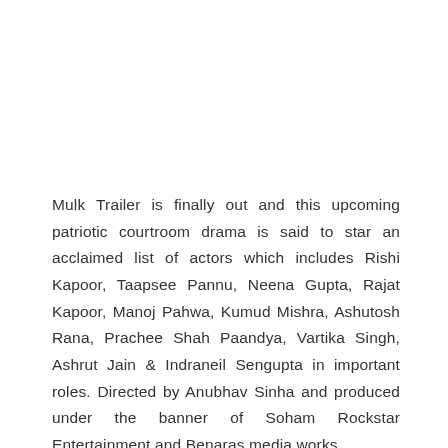Mulk Trailer is finally out and this upcoming patriotic courtroom drama is said to star an acclaimed list of actors which includes Rishi Kapoor, Taapsee Pannu, Neena Gupta, Rajat Kapoor, Manoj Pahwa, Kumud Mishra, Ashutosh Rana, Prachee Shah Paandya, Vartika Singh, Ashrut Jain & Indraneil Sengupta in important roles. Directed by Anubhav Sinha and produced under the banner of Soham Rockstar Entertainment and Benaras media works.